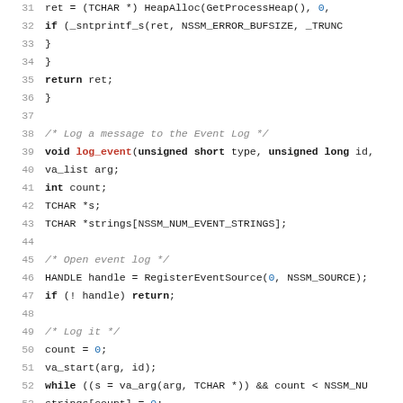[Figure (screenshot): Source code screenshot showing C code for event logging, lines 31-53, with syntax highlighting (keywords bold, function name red, numbers blue, comments gray italic).]